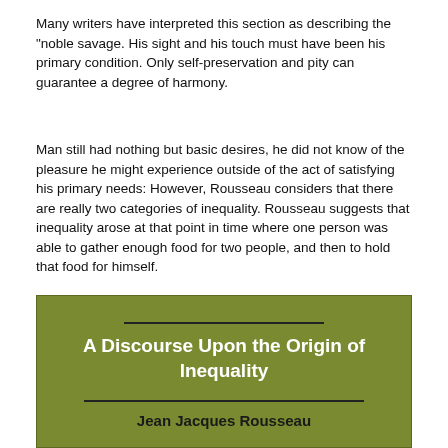Many writers have interpreted this section as describing the "noble savage. His sight and his touch must have been his primary condition. Only self-preservation and pity can guarantee a degree of harmony.
Man still had nothing but basic desires, he did not know of the pleasure he might experience outside of the act of satisfying his primary needs: However, Rousseau considers that there are really two categories of inequality. Rousseau suggests that inequality arose at that point in time where one person was able to gather enough food for two people, and then to hold that food for himself.
[Figure (illustration): Book cover image with olive/green background showing title 'A Discourse Upon the Origin of Inequality' in white bold text, with horizontal lines above and below the title, and author name 'Jean Jacques Rousseau' in bold dark text below.]